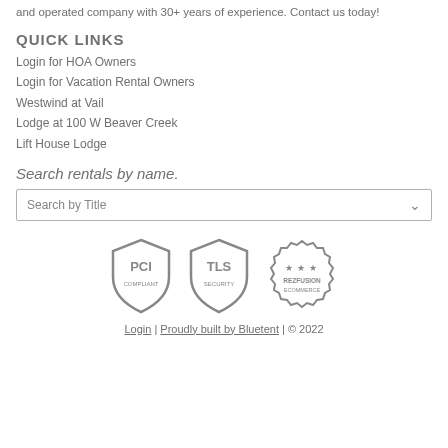and operated company with 30+ years of experience. Contact us today!
QUICK LINKS
Login for HOA Owners
Login for Vacation Rental Owners
Westwind at Vail
Lodge at 100 W Beaver Creek
Lift House Lodge
Search rentals by name.
Search by Title
[Figure (logo): Three security/compliance badge icons: PCI Compliant (shield), TLS Security (shield), and Rezfusion Ecommerce (badge)]
Login | Proudly built by Bluetent | © 2022